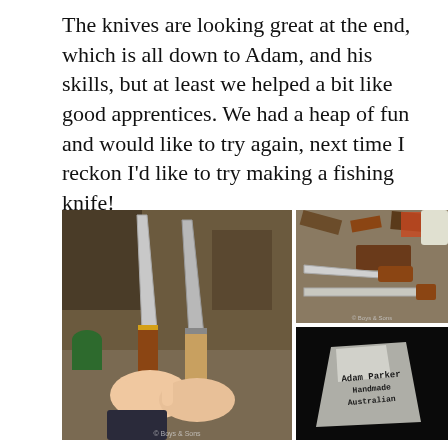The knives are looking great at the end, which is all down to Adam, and his skills, but at least we helped a bit like good apprentices. We had a heap of fun and would like to try again, next time I reckon I'd like to try making a fishing knife!
[Figure (photo): Three photos: left shows two handmade knives held up by hands in a workshop; top right shows a finished knife with handle on a workbench with tools; bottom right shows a close-up of a steel blade with 'Adam Parker Handmade Australian' stamped on it.]